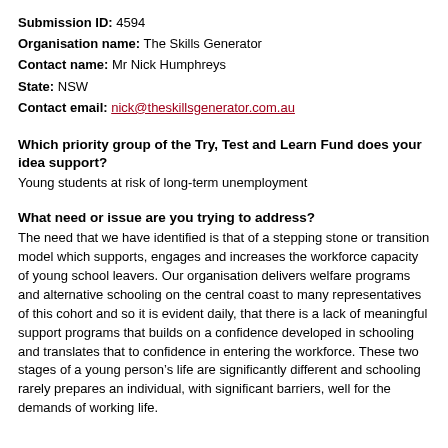Submission ID: 4594
Organisation name: The Skills Generator
Contact name: Mr Nick Humphreys
State: NSW
Contact email: nick@theskillsgenerator.com.au
Which priority group of the Try, Test and Learn Fund does your idea support?
Young students at risk of long-term unemployment
What need or issue are you trying to address?
The need that we have identified is that of a stepping stone or transition model which supports, engages and increases the workforce capacity of young school leavers. Our organisation delivers welfare programs and alternative schooling on the central coast to many representatives of this cohort and so it is evident daily, that there is a lack of meaningful support programs that builds on a confidence developed in schooling and translates that to confidence in entering the workforce. These two stages of a young person’s life are significantly different and schooling rarely prepares an individual, with significant barriers, well for the demands of working life.